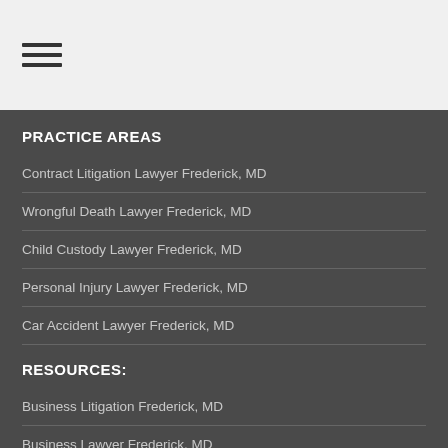[Figure (other): Hamburger menu icon with three horizontal lines]
PRACTICE AREAS
Contract Litigation Lawyer Frederick, MD
Wrongful Death Lawyer Frederick, MD
Child Custody Lawyer Frederick, MD
Personal Injury Lawyer Frederick, MD
Car Accident Lawyer Frederick, MD
RESOURCES:
Business Litigation Frederick, MD
Business Lawyer Frederick, MD